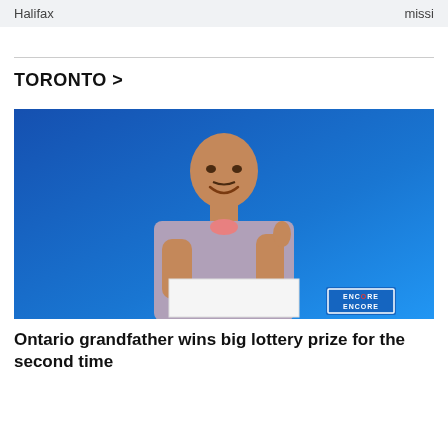Halifax   missi
TORONTO >
[Figure (photo): Man holding a white sign giving a thumbs up, smiling against a blue background. An ENCORE ENCORE lottery logo badge is visible in the bottom right corner.]
Ontario grandfather wins big lottery prize for the second time